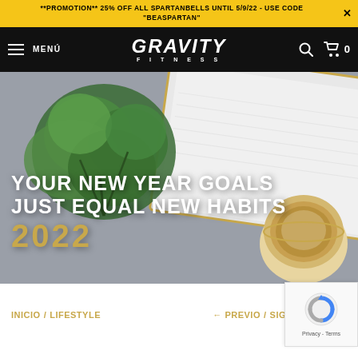**PROMOTION** 25% OFF ALL SPARTANBELLS UNTIL 5/9/22 - USE CODE "BEASPARTAN"
[Figure (logo): Gravity Fitness logo in white text on black navbar with menu icon, search icon and cart showing 0]
[Figure (photo): Hero image with plant and notebook on grey background with overlay text: YOUR NEW YEAR GOALS JUST EQUAL NEW HABITS 2022]
YOUR NEW YEAR GOALS JUST EQUAL NEW HABITS 2022
INICIO / LIFESTYLE
← PREVIO / SIG